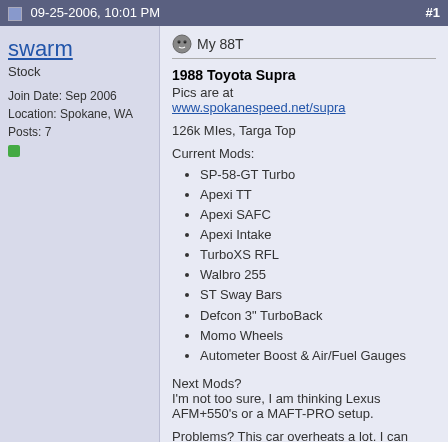09-25-2006, 10:01 PM   #1
swarm
Stock
Join Date: Sep 2006
Location: Spokane, WA
Posts: 7
My 88T
1988 Toyota Supra
Pics are at
www.spokanespeed.net/supra
126k MIes, Targa Top
Current Mods:
SP-58-GT Turbo
Apexi TT
Apexi SAFC
Apexi Intake
TurboXS RFL
Walbro 255
ST Sway Bars
Defcon 3" TurboBack
Momo Wheels
Autometer Boost & Air/Fuel Gauges
Next Mods?
I'm not too sure, I am thinking Lexus AFM+550's or a MAFT-PRO setup.
Problems? This car overheats a lot. I can usually keep it from overheating